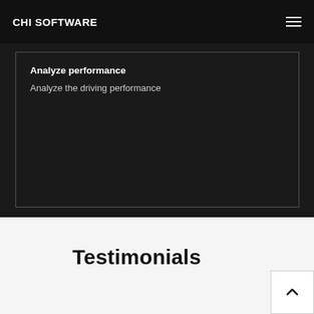CHI SOFTWARE
Analyze performance
Analyze the driving performance
Testimonials